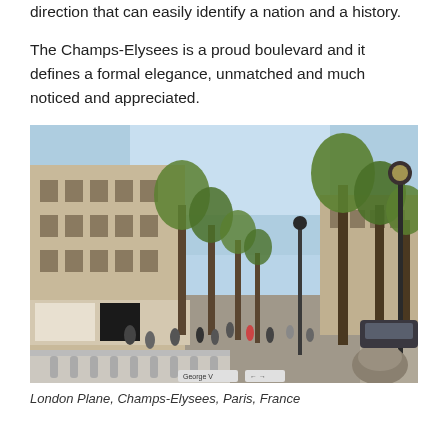direction that can easily identify a nation and a history.
The Champs-Elysees is a proud boulevard and it defines a formal elegance, unmatched and much noticed and appreciated.
[Figure (photo): Street-level photograph of the Champs-Elysees in Paris, France, showing a wide boulevard lined with tall plane trees, Haussmann-style buildings on the left, pedestrians walking along the sidewalk, and a classic Parisian street lamp on the right. A Metro sign reading 'George V' is visible at the bottom.]
London Plane, Champs-Elysees, Paris, France